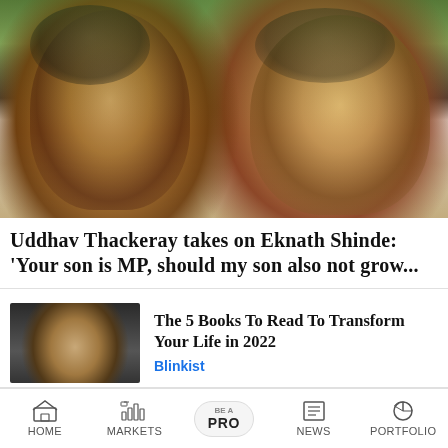[Figure (photo): Two men wearing glasses, one younger and one older smiling with hands folded in namaste gesture, outdoors with green background]
Uddhav Thackeray takes on Eknath Shinde: 'Your son is MP, should my son also not grow...
[Figure (photo): Black and white close-up of a person wearing glasses]
The 5 Books To Read To Transform Your Life in 2022
Blinkist
[Figure (photo): Small colorful thumbnail image]
Flexible Suryakumar Yadav ready to bat
[Figure (photo): Small blue news thumbnail]
Hong Kong fields first against India in Asia
HOME  MARKETS  BE A PRO  NEWS  PORTFOLIO